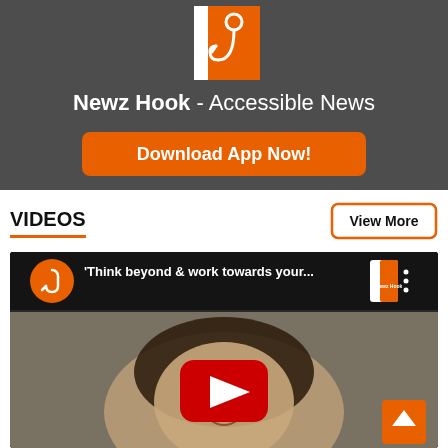[Figure (logo): Newz Hook app logo — orange hook icon on white/orange background]
Newz Hook - Accessible News
[Figure (other): Download App Now! orange button]
VIDEOS
[Figure (other): View More button with orange border]
[Figure (screenshot): YouTube video thumbnail showing a man's face with YouTube play button overlay, title 'Think beyond & work towards your...' with Newz Hook channel icon]